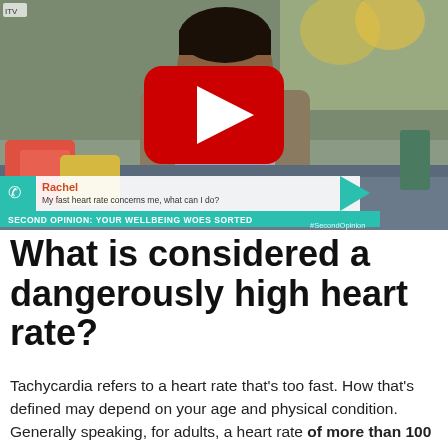[Figure (screenshot): A YouTube video thumbnail showing a man in a blazer sitting on a sofa, with a red YouTube play button overlay. A lower-third graphic reads 'Rachel – My fast heart rate concerns me, what can I do?' and below that 'SECOND OPINION: YOUR WELLBEING WOES SORTED' with '#SecondOpinion'.]
What is considered a dangerously high heart rate?
Tachycardia refers to a heart rate that's too fast. How that's defined may depend on your age and physical condition. Generally speaking, for adults, a heart rate of more than 100 beats per minute (BPM) is